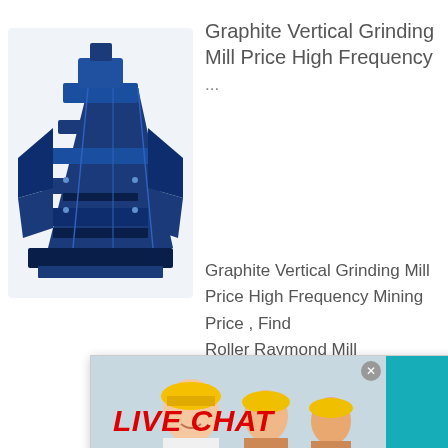[Figure (photo): Blue industrial graphite vertical grinding mill machine, dark blue/black mechanical equipment with angular frame]
Graphite Vertical Grinding Mill Price High Frequency ...
Graphite Vertical Grinding Mill Price High Frequency Mining Price , Find Roller Raymond Mill Raymond Mill from Supplier or Manufacturer Baichy Machinery Eq... Ltd.
[Figure (screenshot): Live chat popup overlay showing workers in hard hats, LIVE CHAT text in red italic, Click for a Free Consultation text, Chat now and Chat later buttons, and a teal right panel with smiley face headset graphic, 7 hours online text, Click me to chat button, Enquiry section, and superbrian707@g... email]